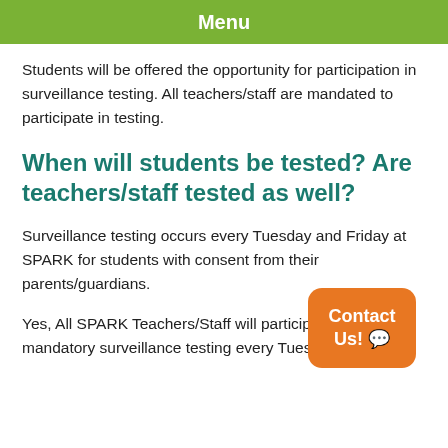Menu
Students will be offered the opportunity for participation in surveillance testing. All teachers/staff are mandated to participate in testing.
When will students be tested? Are teachers/staff tested as well?
Surveillance testing occurs every Tuesday and Friday at SPARK for students with consent from their parents/guardians.
Yes, All SPARK Teachers/Staff will participate in mandatory surveillance testing every Tuesday and Friday.
[Figure (other): Orange rounded rectangle button labeled 'Contact Us!' with a speech bubble emoji]
How frequently will testing take place?